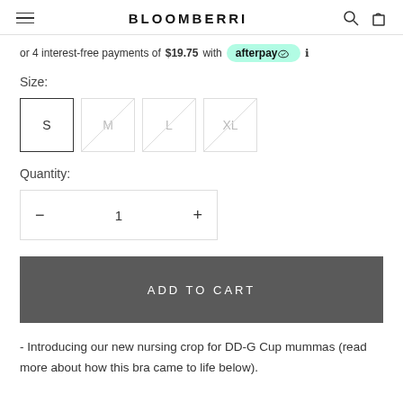BLOOMBERRI
or 4 interest-free payments of $19.75 with afterpay
Size:
S  M  L  XL
Quantity:
− 1 +
ADD TO CART
- Introducing our new nursing crop for DD-G Cup mummas (read more about how this bra came to life below).